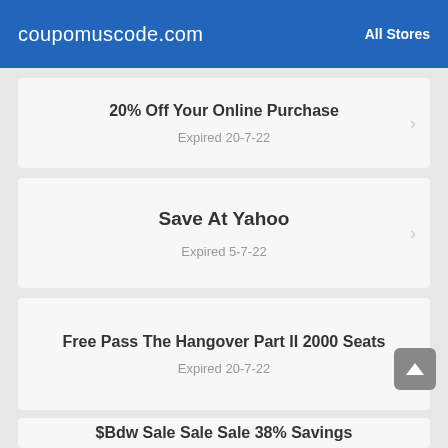coupomuscode.com | All Stores
20% Off Your Online Purchase
Expired 20-7-22
Save At Yahoo
Expired 5-7-22
Free Pass The Hangover Part II 2000 Seats
Expired 20-7-22
$Bdw Sale Sale Sale 38% Savings